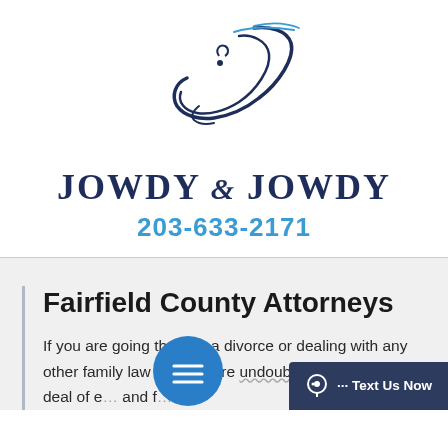[Figure (logo): Jowdy & Jowdy law firm logo — stylized cursive J monogram in dark navy and teal blue]
JOWDY & JOWDY
203-633-2171
Fairfield County Attorneys
If you are going through a divorce or dealing with any other family law d... you are undoubtedly under a great deal of e... and f...